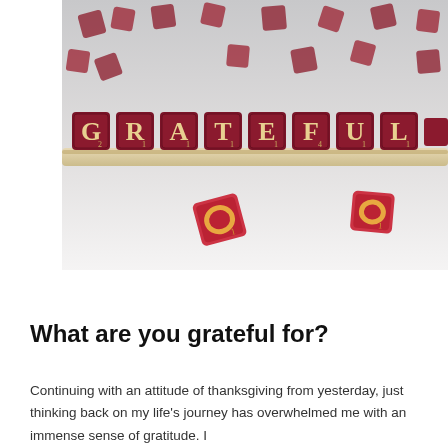[Figure (photo): A photograph of Scrabble tiles spelling GRATEFUL arranged on a wooden tile holder, with scattered dark red Scrabble tiles on a white surface in the background.]
What are you grateful for?
Continuing with an attitude of thanksgiving from yesterday, just thinking back on my life's journey has overwhelmed me with an immense sense of gratitude. I